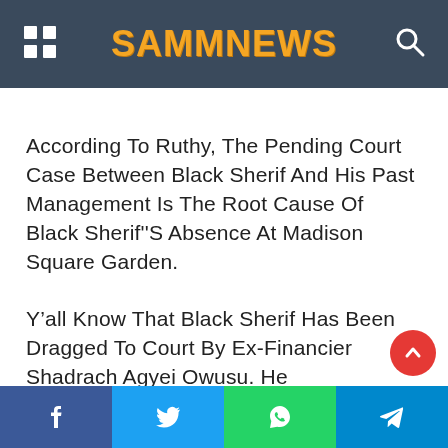SAMMNEWS
According To Ruthy, The Pending Court Case Between Black Sherif And His Past Management Is The Root Cause Of Black Sherif"S Absence At Madison Square Garden.
Y’all Know That Black Sherif Has Been Dragged To Court By Ex-Financier Shadrach Agyei Owusu. He
Facebook | Twitter | WhatsApp | Telegram